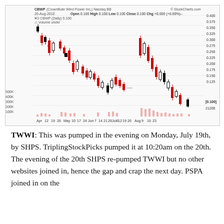[Figure (continuous-plot): Daily candlestick chart for CBWP (CrownBute Wind Power Inc.) on Nasdaq BB from approximately April to August 26, 2010. Shows price range roughly 0.100 to 0.400 with volume bars at bottom. Red and black candlesticks showing a general downtrend. Open 0.100, High 0.100, Low 0.100, Close 0.100, Chg +0.000 (+0.00%). Sourced from StockCharts.com.]
TWWI: This was pumped in the evening on Monday, July 19th, by SHPS. TriplingStockPicks pumped it at 10:20am on the 20th. The evening of the 20th SHPS re-pumped TWWI but no other websites joined in, hence the gap and crap the next day. PSPA joined in on the